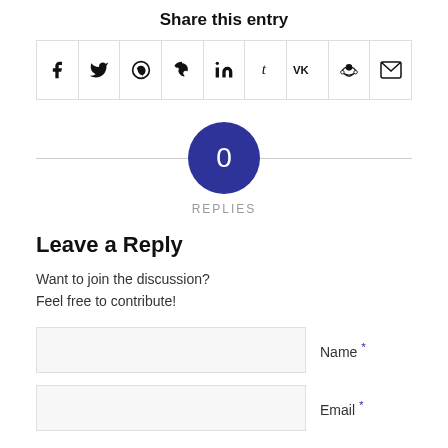Share this entry
[Figure (infographic): Row of social media share icon buttons: Facebook, Twitter/X, WhatsApp, Pinterest, LinkedIn, Tumblr, VK, Reddit, Email]
[Figure (infographic): Blue circle with '0' in center and 'REPLIES' label below, on a horizontal line]
Leave a Reply
Want to join the discussion?
Feel free to contribute!
Name *
Email *